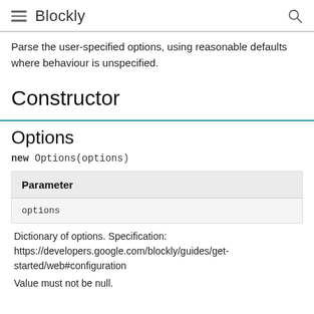Blockly
Parse the user-specified options, using reasonable defaults where behaviour is unspecified.
Constructor
Options
new Options(options)
| Parameter |
| --- |
| options |
Dictionary of options. Specification: https://developers.google.com/blockly/guides/get-started/web#configuration
Value must not be null.